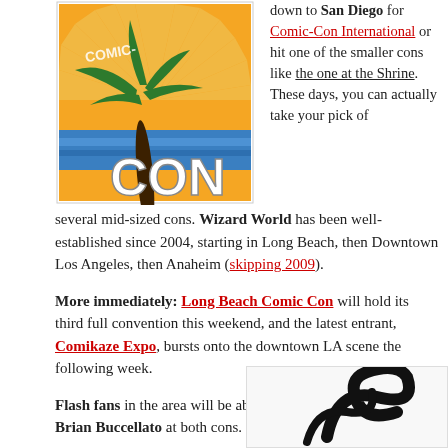[Figure (illustration): Comic-Con style logo illustration with palm tree, ocean waves, sunburst pattern in orange, blue and white colors, with 'CON' text prominently displayed]
down to San Diego for Comic-Con International or hit one of the smaller cons like the one at the Shrine. These days, you can actually take your pick of several mid-sized cons. Wizard World has been well-established since 2004, starting in Long Beach, then Downtown Los Angeles, then Anaheim (skipping 2009).
More immediately: Long Beach Comic Con will hold its third full convention this weekend, and the latest entrant, Comikaze Expo, bursts onto the downtown LA scene the following week.
Flash fans in the area will be able to catch co-writer/artist Brian Buccellato at both cons.
I'll be attending
[Figure (illustration): Partial view of a decorative illustration with a swirling black design element on a light background]